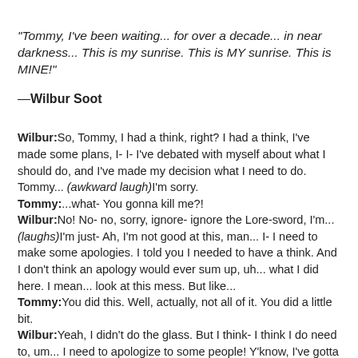"Tommy, I've been waiting... for over a decade... in near darkness... This is my sunrise. This is MY sunrise. This is MINE!"
—Wilbur Soot
Wilbur: So, Tommy, I had a think, right? I had a think, I've made some plans, I- I- I've debated with myself about what I should do, and I've made my decision what I need to do. Tommy... (awkward laugh) I'm sorry.
Tommy: ...what- You gonna kill me?!
Wilbur: No! No- no, sorry, ignore- ignore the Lore-sword, I'm... (laughs) I'm just- Ah, I'm not good at this, man... I- I need to make some apologies. I told you I needed to have a think. And I don't think an apology would ever sum up, uh... what I did here. I mean... look at this mess. But like...
Tommy: You did this. Well, actually, not all of it. You did a little bit.
Wilbur: Yeah, I didn't do the glass. But I think- I think I do need to, um... I need to apologize to some people! Y'know, I've gotta make amends! I've gotta make amends, and I- I promise that's- that's true, I know- look at me! Look me in the eyes. I know it's- I know it's hard to believe when you look at me that I... I- Y'know. I've turned